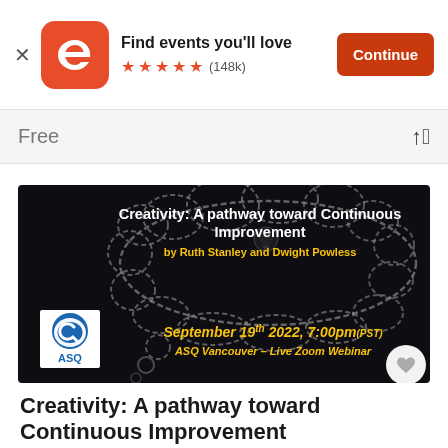[Figure (screenshot): Eventbrite app banner with logo, 'Find events you'll love' text, 5 stars rating (148k reviews), and orange Continue button]
Free
[Figure (photo): Event promotional image on dark background with thought cloud graphic, title 'Creativity: A pathway toward Continuous Improvement', subtitle 'by Ruth Stanley and Dwight Powless', ASQ logo, date 'September 19th 2022, 7:00pm (PST)', 'ASQ Vancouver – Live Zoom Webinar']
Creativity: A pathway toward Continuous Improvement